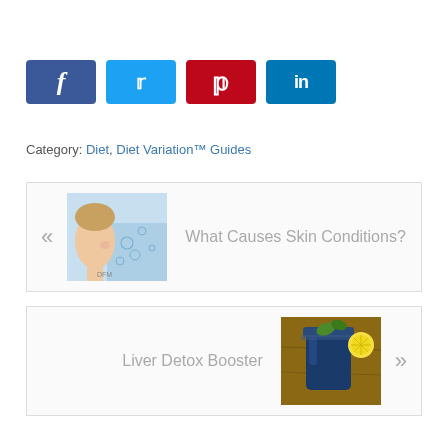[Figure (infographic): Social media share buttons: Facebook (blue), Twitter (light blue), Pinterest (red), LinkedIn (blue)]
Category: Diet, Diet Variation™ Guides
[Figure (illustration): Navigation box with left arrow, thumbnail of woman near water bubbles, and text: What Causes Skin Conditions?]
[Figure (illustration): Navigation box with text: Liver Detox Booster, thumbnail of blue mason jar drink with lemon, and right arrow]